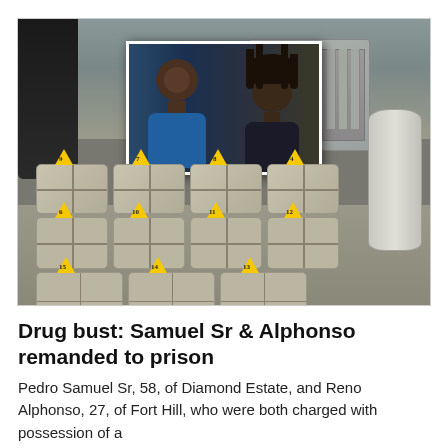[Figure (photo): Main photo showing numbered bundles (packages) of suspected drugs laid out on a boat deck, with yellow evidence markers numbered 4-15. An inset photo in the upper center shows two men: one older heavyset man in a blue shirt and one younger man with dreadlocks.]
Drug bust: Samuel Sr & Alphonso remanded to prison
Pedro Samuel Sr, 58, of Diamond Estate, and Reno Alphonso, 27, of Fort Hill, who were both charged with possession of a